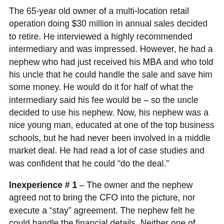The 65-year old owner of a multi-location retail operation doing $30 million in annual sales decided to retire. He interviewed a highly recommended intermediary and was impressed. However, he had a nephew who had just received his MBA and who told his uncle that he could handle the sale and save him some money. He would do it for half of what the intermediary said his fee would be – so the uncle decided to use his nephew. Now, his nephew was a nice young man, educated at one of the top business schools, but he had never been involved in a middle market deal. He had read a lot of case studies and was confident that he could “do the deal.”
Inexperience # 1 – The owner and the nephew agreed not to bring the CFO into the picture, nor execute a “stay” agreement. The nephew felt he could handle the financial details. Neither one of them realized that a potential purchaser would expect to meet with the CFO when it came to the finances of the business, and certainly would expect the CFO...